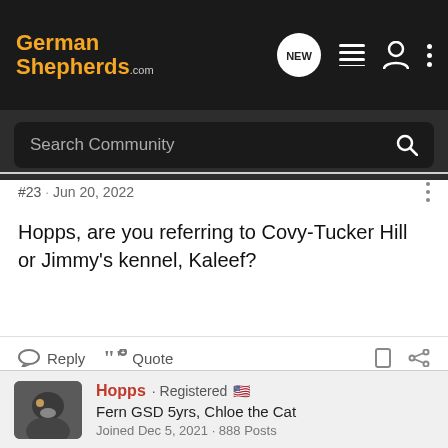[Figure (screenshot): Navigation bar of GermanShepherds.com website with logo, NEW chat button, list icon, user icon, and three-dot menu]
[Figure (screenshot): Search Community input bar with magnifying glass icon on dark background]
#23 · Jun 20, 2022
Hopps, are you referring to Covy-Tucker Hill or Jimmy's kennel, Kaleef?
Reply   Quote
Hopps · Registered 🇺🇸
Fern GSD 5yrs, Chloe the Cat
Joined Dec 5, 2021 · 888 Posts